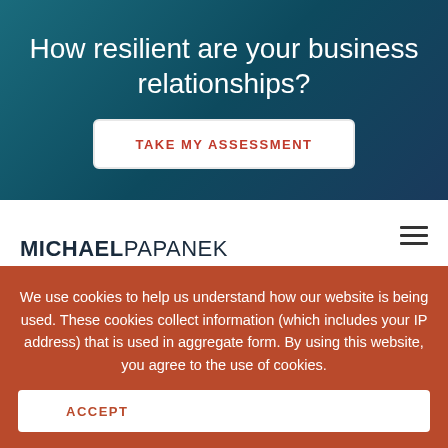How resilient are your business relationships?
TAKE MY ASSESSMENT
MICHAELPAPANEK Lead with Resilient Relationships
All Posts
Newsletter
We use cookies to help us understand how our website is being used. These cookies collect information (which includes your IP address) that is used in aggregate form. By using this website, you agree to the use of cookies.
ACCEPT